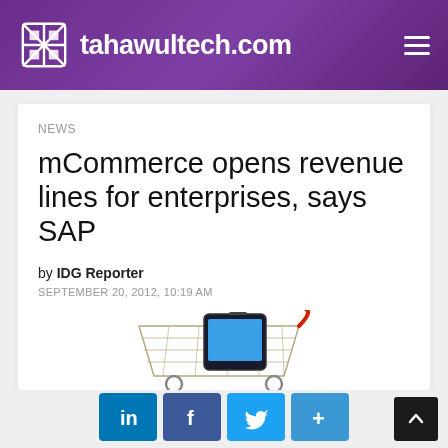tahawultech.com
NEWS
mCommerce opens revenue lines for enterprises, says SAP
by IDG Reporter
SEPTEMBER 20, 2012, 10:19 AM
[Figure (photo): A shopping cart with a smartphone inside it, illustrating mobile commerce concept]
[Figure (infographic): Social sharing buttons: LinkedIn, Facebook, Twitter, and a plus/more button]